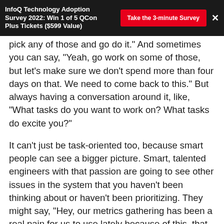InfoQ Technology Adoption Survey 2022: Win 1 of 5 QCon Plus Tickets ($599 Value)  |  Take the 3-minute Survey  ×
pick any of those and go do it." And sometimes you can say, "Yeah, go work on some of those, but let's make sure we don't spend more than four days on that. We need to come back to this." But always having a conversation around it, like, "What tasks do you want to work on? What tasks do excite you?"
It can't just be task-oriented too, because smart people can see a bigger picture. Smart, talented engineers with that passion are going to see other issues in the system that you haven't been thinking about or haven't been prioritizing. They might say, "Hey, our metrics gathering has been a real pain for us to use lately because of this, that, and the other. I really, really wish we had something different." Oh, do you? What? Would you like to fix it? Would you